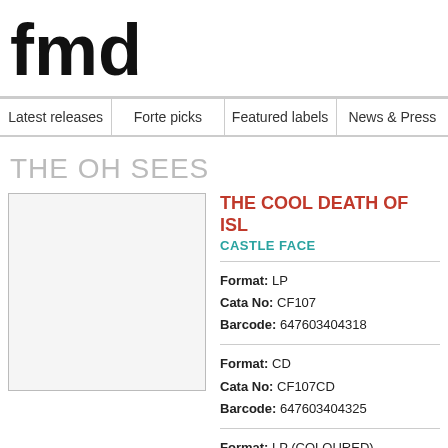fmd
| Latest releases | Forte picks | Featured labels | News & Press |
| --- | --- | --- | --- |
THE OH SEES
[Figure (photo): Album art placeholder, light gray box with border]
THE COOL DEATH OF ISL...
CASTLE FACE
Format: LP
Cata No: CF107
Barcode: 647603404318
Format: CD
Cata No: CF107CD
Barcode: 647603404325
Format: LP (COLOURED)